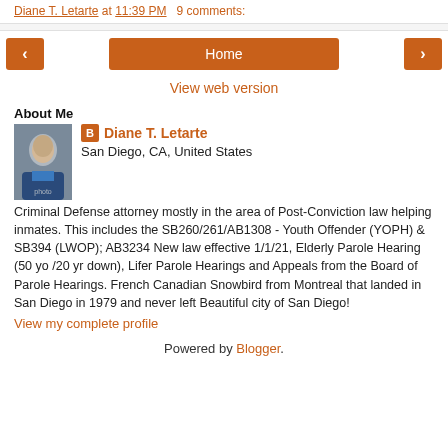Diane T. Letarte at 11:39 PM   9 comments:
[Figure (screenshot): Navigation bar with orange left arrow button, orange Home button, and orange right arrow button]
View web version
About Me
[Figure (photo): Profile photo of Diane T. Letarte]
Diane T. Letarte
San Diego, CA, United States

Criminal Defense attorney mostly in the area of Post-Conviction law helping inmates. This includes the SB260/261/AB1308 - Youth Offender (YOPH) & SB394 (LWOP); AB3234 New law effective 1/1/21, Elderly Parole Hearing (50 yo /20 yr down), Lifer Parole Hearings and Appeals from the Board of Parole Hearings. French Canadian Snowbird from Montreal that landed in San Diego in 1979 and never left Beautiful city of San Diego!
View my complete profile
Powered by Blogger.